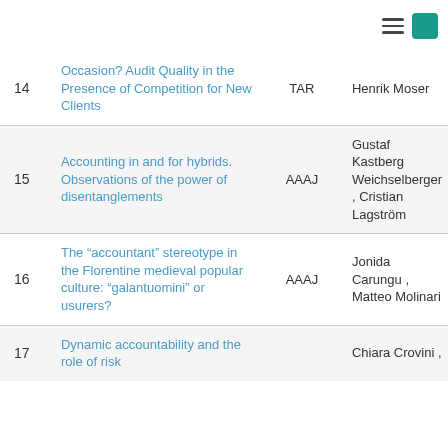| # | Title | Journal | Authors |
| --- | --- | --- | --- |
| 14 | ...g Occasion? Audit Quality in the Presence of Competition for New Clients | TAR | Henrik Moser |
| 15 | Accounting in and for hybrids. Observations of the power of disentanglements | AAAJ | Gustaf Kastberg Weichselberger , Cristian Lagström |
| 16 | The “accountant” stereotype in the Florentine medieval popular culture: “galantuomini” or usurers? | AAAJ | Jonida Carungu , Matteo Molinari |
| 17 | Dynamic accountability and the role of risk... |  | Chiara Crovini , |